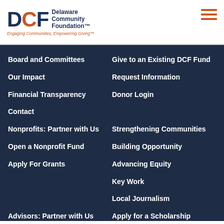[Figure (logo): Delaware Community Foundation logo with DCF text and tagline 'Engaging Communities, Empowering Giving']
Board and Committees
Give to an Existing DCF Fund
Our Impact
Request Information
Financial Transparency
Donor Login
Contact
Nonprofits: Partner with Us
Strengthening Communities
Open a Nonprofit Fund
Building Opportunity
Apply For Grants
Advancing Equity
Key Work
Local Journalism
Advisors: Partner with Us
Apply for a Scholarship
Resources
Establish a Scholarship